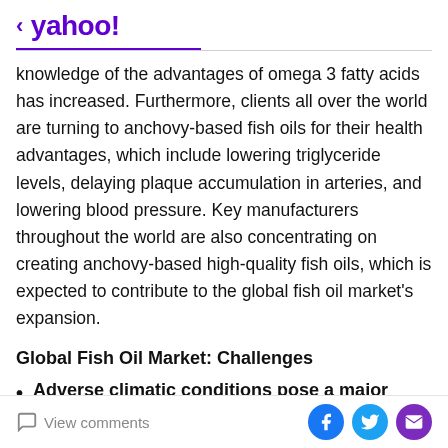yahoo!
knowledge of the advantages of omega 3 fatty acids has increased. Furthermore, clients all over the world are turning to anchovy-based fish oils for their health advantages, which include lowering triglyceride levels, delaying plaque accumulation in arteries, and lowering blood pressure. Key manufacturers throughout the world are also concentrating on creating anchovy-based high-quality fish oils, which is expected to contribute to the global fish oil market's expansion.
Global Fish Oil Market: Challenges
Adverse climatic conditions pose a major challenge to market growth.
View comments